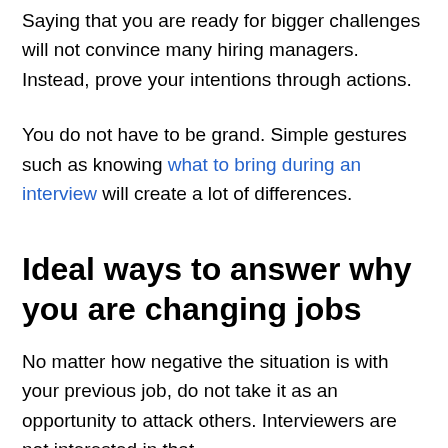Saying that you are ready for bigger challenges will not convince many hiring managers. Instead, prove your intentions through actions.
You do not have to be grand. Simple gestures such as knowing what to bring during an interview will create a lot of differences.
Ideal ways to answer why you are changing jobs
No matter how negative the situation is with your previous job, do not take it as an opportunity to attack others. Interviewers are not interested in that.